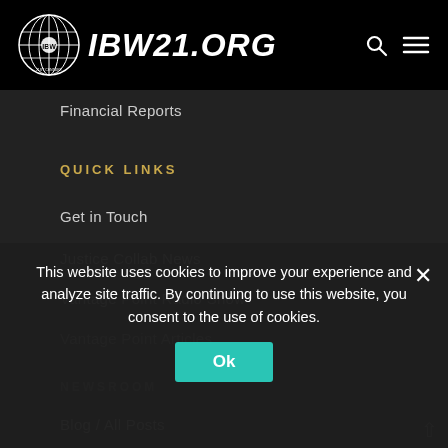IBW21.ORG
Financial Reports
QUICK LINKS
Get in Touch
Justice Collab News
Vantage Point Radio Show
Vantage Point Articles
NEWSROOM
Blog / All Posts
This website uses cookies to improve your experience and analyze site traffic. By continuing to use this website, you consent to the use of cookies.